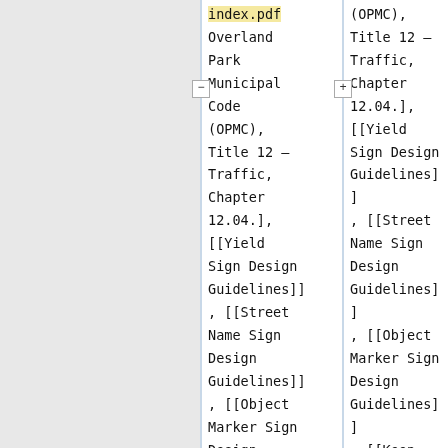index.pdf Overland Park Municipal Code (OPMC), Title 12 – Traffic, Chapter 12.04.], [[Yield Sign Design Guidelines]], [[Street Name Sign Design Guidelines]], [[Object Marker Sign Design Guidelines]], [[Keep
(OPMC), Title 12 – Traffic, Chapter 12.04.], [[Yield Sign Design Guidelines]], [[Street Name Sign Design Guidelines]], [[Object Marker Sign Design Guidelines]], [[Keep Right Sign Design Guidelines]] and [[School